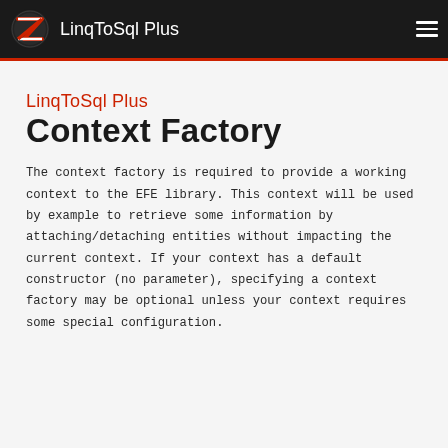LinqToSql Plus
LinqToSql Plus
Context Factory
The context factory is required to provide a working context to the EFE library. This context will be used by example to retrieve some information by attaching/detaching entities without impacting the current context. If your context has a default constructor (no parameter), specifying a context factory may be optional unless your context requires some special configuration.